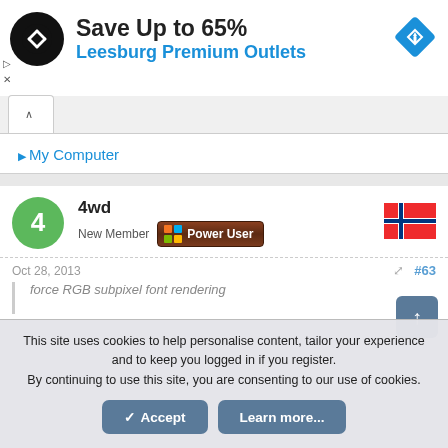[Figure (screenshot): Advertisement banner: Save Up to 65% at Leesburg Premium Outlets with logo and direction icon]
▷ My Computer
4wd
New Member  Power User
Oct 28, 2013  #63
force RGB subpixel font rendering
This site uses cookies to help personalise content, tailor your experience and to keep you logged in if you register.
By continuing to use this site, you are consenting to our use of cookies.
✓ Accept   Learn more...